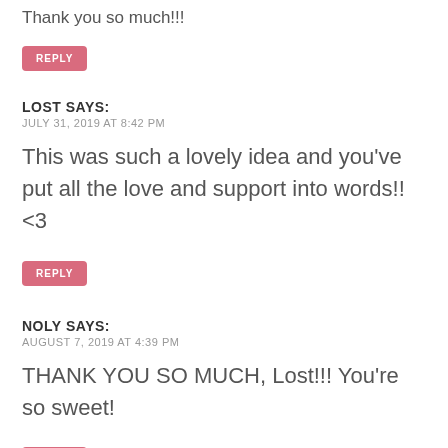Thank you so much!!!
REPLY
LOST SAYS:
JULY 31, 2019 AT 8:42 PM

This was such a lovely idea and you’ve put all the love and support into words!! <3

REPLY
NOLY SAYS:
AUGUST 7, 2019 AT 4:39 PM

THANK YOU SO MUCH, Lost!!! You’re so sweet!

REPLY